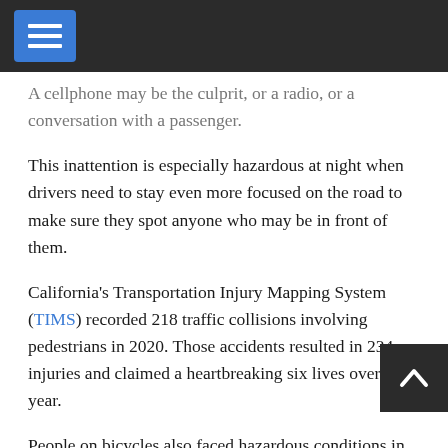[Navigation header bar with menu icon]
A cellphone may be the culprit, or a radio, or a conversation with a passenger.
This inattention is especially hazardous at night when drivers need to stay even more focused on the road to make sure they spot anyone who may be in front of them.
California's Transportation Injury Mapping System (TIMS) recorded 218 traffic collisions involving pedestrians in 2020. Those accidents resulted in 234 injuries and claimed a heartbreaking six lives over the year.
People on bicycles also faced hazardous conditions in 2020. There were 178 traffic accidents involving cyclists in San Jose. Fortunately, according to TIMS records, no cyclist was killed in San Jose in 2020, but 185 victims were injured in those accidents.
Too many of these tragic accidents involve a driver who